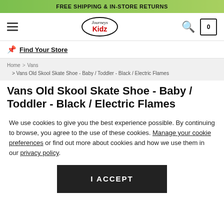FREE SHIPPING & IN-STORE RETURNS
[Figure (logo): Journeys Kidz store logo in oval shape with red Kidz text]
Find Your Store
Home > Vans > Vans Old Skool Skate Shoe - Baby / Toddler - Black / Electric Flames
Vans Old Skool Skate Shoe - Baby / Toddler - Black / Electric Flames
We use cookies to give you the best experience possible. By continuing to browse, you agree to the use of these cookies. Manage your cookie preferences or find out more about cookies and how we use them in our privacy policy.
I ACCEPT